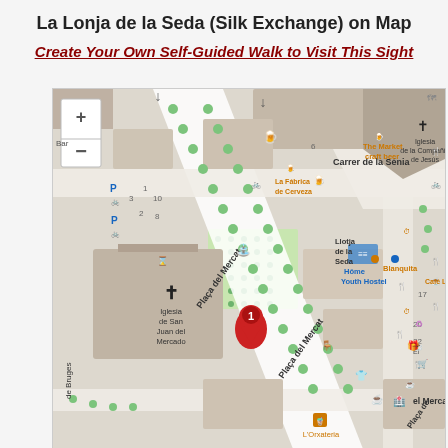La Lonja de la Seda (Silk Exchange) on Map
Create Your Own Self-Guided Walk to Visit This Sight
[Figure (map): Street map of Valencia showing La Lonja de la Seda (Llotja de la Seda) marked with a red pin labeled 1, surrounded by streets Plaça del Mercat, Carrer de la Sénia, and nearby landmarks including Iglesia de la Compañía de Jesús, Iglesia de San Juan del Mercado, The Market craft beer, La Fábrica de Cerveza, Hôme Youth Hostel, Blanquita, Café Lisb, L'Orxateria, el Mercat.]